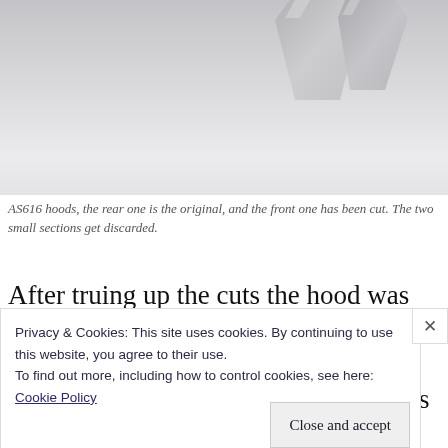[Figure (photo): Two AS616 hoods side by side against a light background. The rear one is original and the front one has been cut. Two small sections are visible near the top.]
AS616 hoods, the rear one is the original, and the front one has been cut. The two small sections get discarded.
After truing up the cuts the hood was carefully glued together.  A bit of red Bondo patched up a couple of slips with the saw.  The two new long hoods were carefully measured, trimmed, and joined to create the 60' long hood structure for
Privacy & Cookies: This site uses cookies. By continuing to use this website, you agree to their use.
To find out more, including how to control cookies, see here:
Cookie Policy
Close and accept